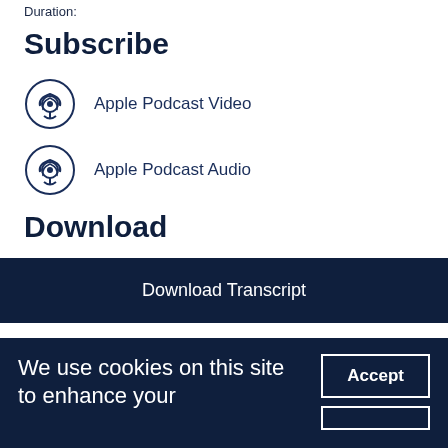Duration:
Subscribe
Apple Podcast Video
Apple Podcast Audio
Download
Download Transcript
We use cookies on this site to enhance your